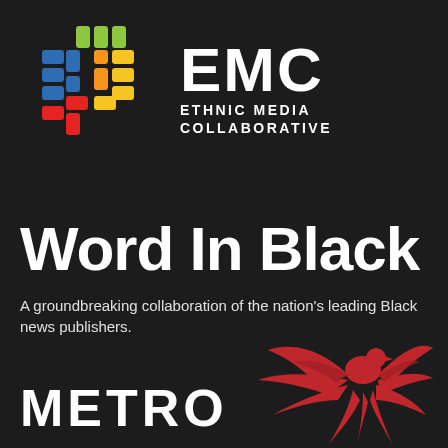[Figure (logo): EMC Ethnic Media Collaborative logo with colorful woven/cross pattern icon and white text]
Word In Black
A groundbreaking collaboration of the nation’s leading Black news publishers.
[Figure (logo): METRO logo with red phoenix bird icon]